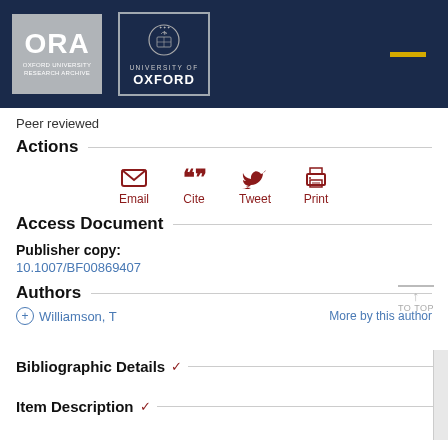[Figure (logo): Oxford University Research Archive (ORA) and University of Oxford logos on dark navy header bar]
Peer reviewed
Actions
[Figure (infographic): Action icons row: Email (envelope icon), Cite (quotation marks icon), Tweet (Twitter bird icon), Print (printer icon) — all in dark red]
Access Document
Publisher copy:
10.1007/BF00869407
Authors
+ Williamson, T
More by this author
Bibliographic Details
Item Description